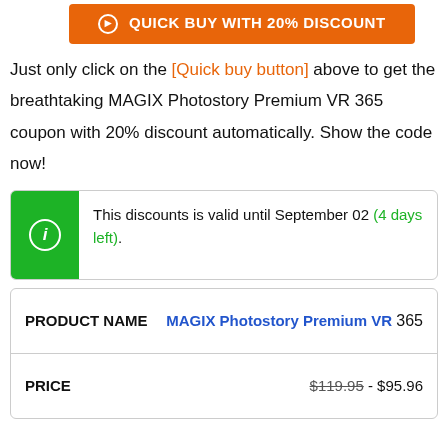[Figure (other): Orange button labeled QUICK BUY WITH 20% DISCOUNT]
Just only click on the [Quick buy button] above to get the breathtaking MAGIX Photostory Premium VR 365 coupon with 20% discount automatically. Show the code now!
This discounts is valid until September 02 (4 days left).
| PRODUCT NAME | MAGIX Photostory Premium VR 365 |
| --- | --- |
| PRICE | $119.95 - $95.96 |